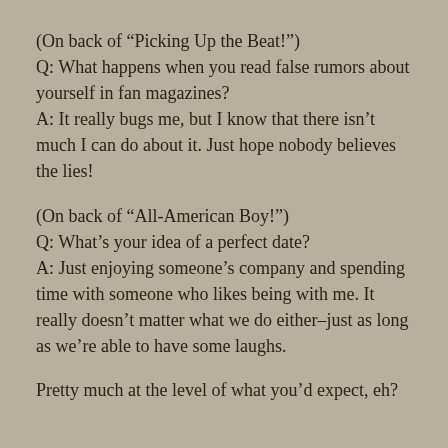(On back of “Picking Up the Beat!”)
Q: What happens when you read false rumors about yourself in fan magazines?
A: It really bugs me, but I know that there isn’t much I can do about it. Just hope nobody believes the lies!
(On back of “All-American Boy!”)
Q: What’s your idea of a perfect date?
A: Just enjoying someone’s company and spending time with someone who likes being with me. It really doesn’t matter what we do either–just as long as we’re able to have some laughs.
Pretty much at the level of what you’d expect, eh?